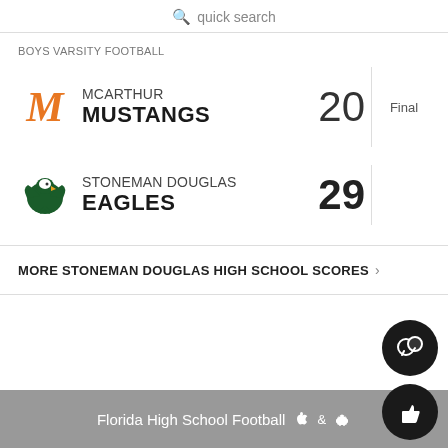quick search
BOYS VARSITY FOOTBALL
| Team | Score | Status |
| --- | --- | --- |
| MCARTHUR MUSTANGS | 20 | Final |
| STONEMAN DOUGLAS EAGLES | 29 | Final |
MORE STONEMAN DOUGLAS HIGH SCHOOL SCORES
Florida High School Football